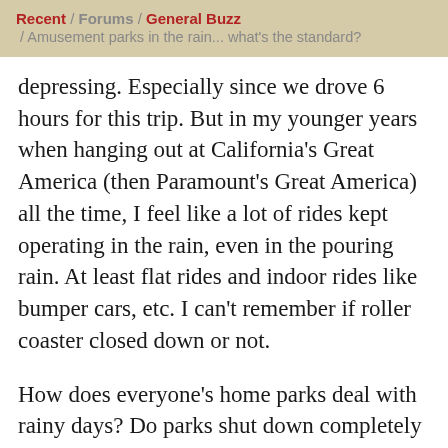Recent / Forums / General Buzz / Amusement parks in the rain... what's the standard?
depressing. Especially since we drove 6 hours for this trip. But in my younger years when hanging out at California's Great America (then Paramount's Great America) all the time, I feel like a lot of rides kept operating in the rain, even in the pouring rain. At least flat rides and indoor rides like bumper cars, etc. I can't remember if roller coaster closed down or not.
How does everyone's home parks deal with rainy days? Do parks shut down completely often? Do roller coasters ever keep running in the rain? I am supposed to go to CGA tomorrow morning, but it just started pouring rain and now I am very curious. What are the